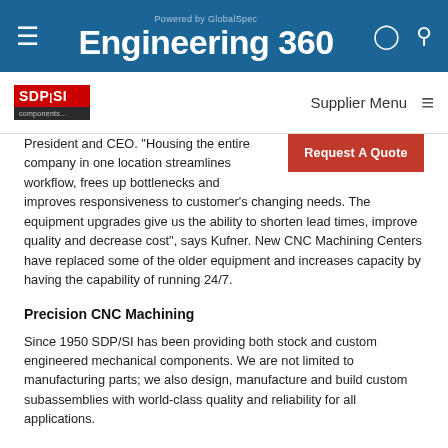Powered by GlobalSpec Engineering 360
SDP/SI — Supplier Menu
President and CEO. "Housing the entire company in one location streamlines workflow, frees up bottlenecks and improves responsiveness to customer's changing needs. The equipment upgrades give us the ability to shorten lead times, improve quality and decrease cost", says Kufner. New CNC Machining Centers have replaced some of the older equipment and increases capacity by having the capability of running 24/7.
Precision CNC Machining
Since 1950 SDP/SI has been providing both stock and custom engineered mechanical components. We are not limited to manufacturing parts; we also design, manufacture and build custom subassemblies with world-class quality and reliability for all applications.
To ensure consistent, high-quality gears and mechanical components